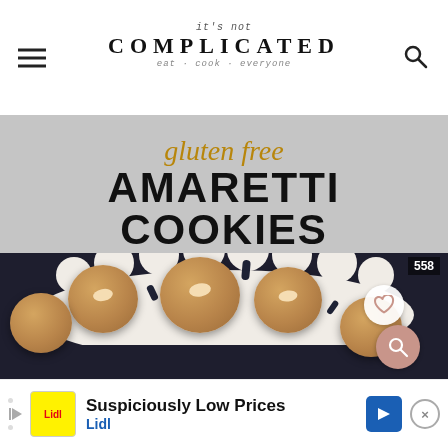it's not COMPLICATED · eat cook everyone
[Figure (photo): Recipe hero image with text overlay showing 'gluten free AMARETTI COOKIES' above a photo of round amaretti cookies with almonds on top, placed on a decorative white plate against a dark background]
Suspiciously Low Prices
Lidl